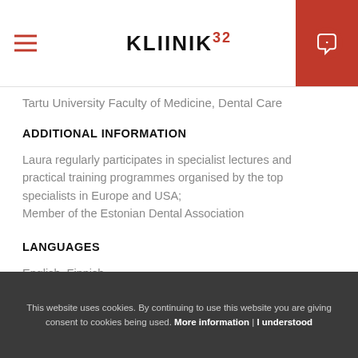KLIINIK32
Tartu University Faculty of Medicine, Dental Care
ADDITIONAL INFORMATION
Laura regularly participates in specialist lectures and practical training programmes organised by the top specialists in Europe and USA;
Member of the Estonian Dental Association
LANGUAGES
English, Finnish
Our dentists:
This website uses cookies. By continuing to use this website you are giving consent to cookies being used. More information | I understood